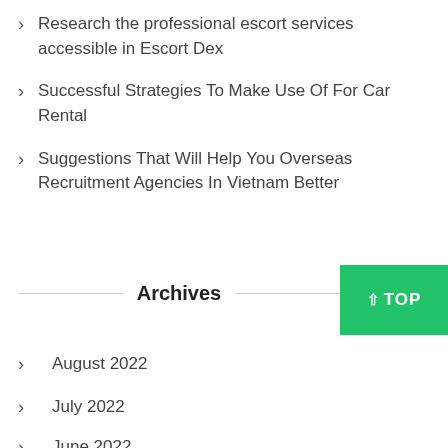Research the professional escort services accessible in Escort Dex
Successful Strategies To Make Use Of For Car Rental
Suggestions That Will Help You Overseas Recruitment Agencies In Vietnam Better
Archives
August 2022
July 2022
June 2022